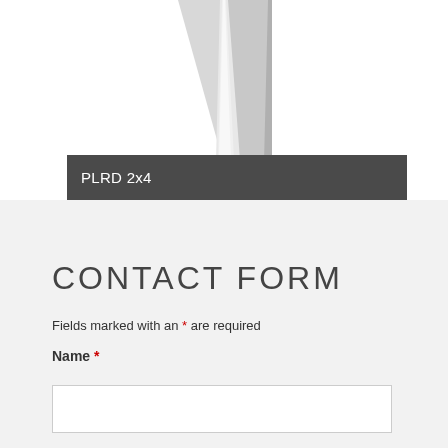[Figure (photo): Product image of PLRD 2x4 lighting fixture shown from below, triangular V-shape with metallic finish on white background]
PLRD 2x4
CONTACT FORM
Fields marked with an * are required
Name *